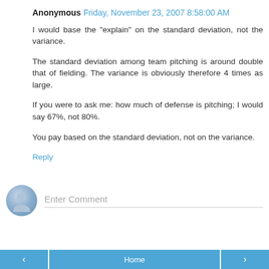Anonymous  Friday, November 23, 2007 8:58:00 AM
I would base the "explain" on the standard deviation, not the variance.
The standard deviation among team pitching is around double that of fielding. The variance is obviously therefore 4 times as large.
If you were to ask me: how much of defense is pitching; I would say 67%, not 80%.
You pay based on the standard deviation, not on the variance.
Reply
[Figure (other): Comment input area with avatar icon and Enter Comment placeholder text]
< | Home | >